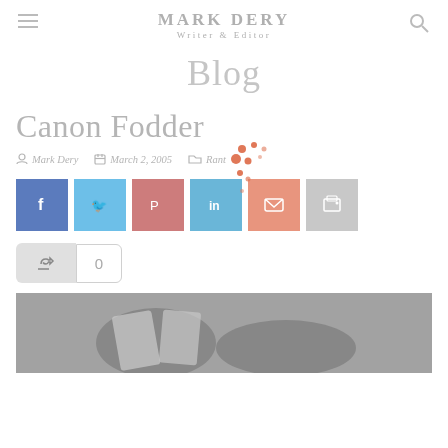MARK DERY Writer & Editor
Blog
Canon Fodder
Mark Dery   March 2, 2005   Rant
[Figure (infographic): Social sharing buttons row: Facebook (blue), Twitter (light blue), Pinterest (pink/rose), LinkedIn (light blue), Email (salmon/peach), Print (light gray)]
[Figure (infographic): Like button (thumbs up icon, gray background) with count '0' in white bordered box]
[Figure (photo): Grayscale photo showing hands holding documents or papers, partially visible at bottom of page]